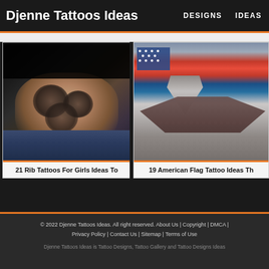Djenne Tattoos Ideas | DESIGNS | IDEAS
[Figure (photo): Person showing rib area with black and grey rose tattoo design]
21 Rib Tattoos For Girls Ideas To
[Figure (photo): Arm with American flag and Air Force insignia tattoo in color]
19 American Flag Tattoo Ideas Th
© 2022 Djenne Tattoos Ideas. All right reserved. About Us | Copyright | DMCA | Privacy Policy | Contact Us | Sitemap | Terms of Use
Djenne Tattoos Ideas is Tattoo Designs, Tattoo Gallery and Tattoo Designs Ideas